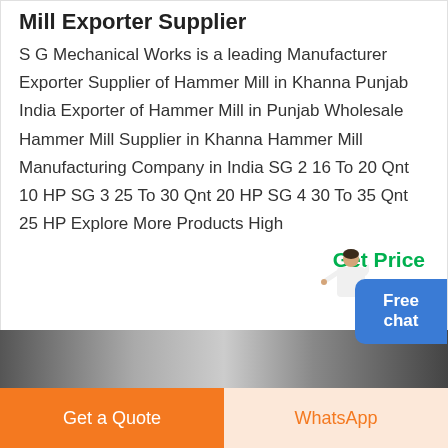Mill Exporter Supplier
S G Mechanical Works is a leading Manufacturer Exporter Supplier of Hammer Mill in Khanna Punjab India Exporter of Hammer Mill in Punjab Wholesale Hammer Mill Supplier in Khanna Hammer Mill Manufacturing Company in India SG 2 16 To 20 Qnt 10 HP SG 3 25 To 30 Qnt 20 HP SG 4 30 To 35 Qnt 25 HP Explore More Products High
Get Price
[Figure (photo): Partial view of machinery or equipment image strip]
Get a Quote
WhatsApp